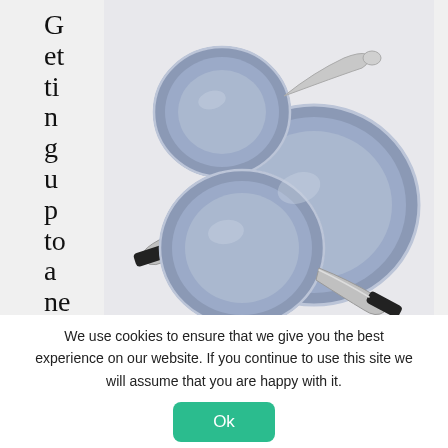Get ting up to a newl y
[Figure (photo): Three blue ceramic non-stick frying pans of different sizes with silver and black handles, arranged on a light marble/white surface, viewed from above.]
We use cookies to ensure that we give you the best experience on our website. If you continue to use this site we will assume that you are happy with it.
Ok